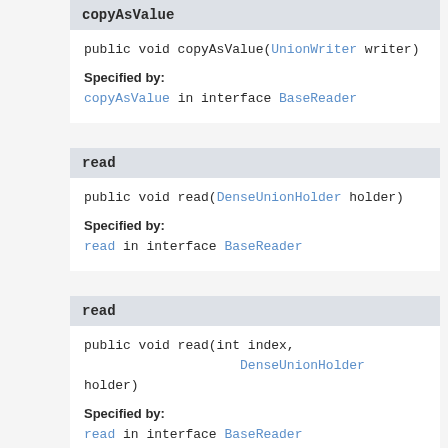copyAsValue
public void copyAsValue(UnionWriter writer)
Specified by:
copyAsValue in interface BaseReader
read
public void read(DenseUnionHolder holder)
Specified by:
read in interface BaseReader
read
public void read(int index,
                    DenseUnionHolder holder)
Specified by:
read in interface BaseReader